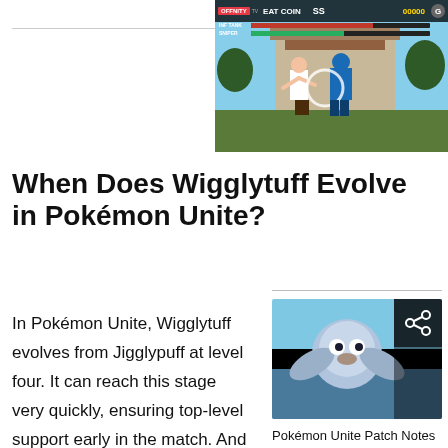[Figure (screenshot): Video game screenshot showing fighting game with HUD overlay including OFFNITY TV branding, EAT COIN text, SS counter, score display, and two fighters on screen]
When Does Wigglytuff Evolve in Pokémon Unite?
In Pokémon Unite, Wigglytuff evolves from Jigglypuff at level four. It can reach this stage very quickly, ensuring top-level support early in the match. And despite having a pre-evolution
[Figure (screenshot): Pokémon Unite related article thumbnail showing anime-style Pokémon characters with share icon overlay]
Pokémon Unite Patch Notes - July 2022 Update Detailed...
READ MORE